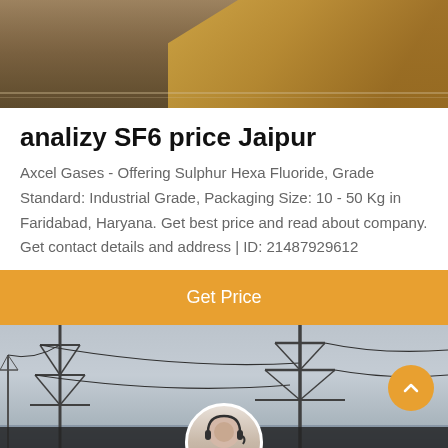[Figure (photo): Top photo showing a truck or vehicle on a road, blurred background]
analizy SF6 price Jaipur
Axcel Gases - Offering Sulphur Hexa Fluoride, Grade Standard: Industrial Grade, Packaging Size: 10 - 50 Kg in Faridabad, Haryana. Get best price and read about company. Get contact details and address | ID: 21487929612
Get Price
[Figure (photo): Bottom photo showing electrical pylons/power lines against a cloudy sky]
Leave Message
Chat Online